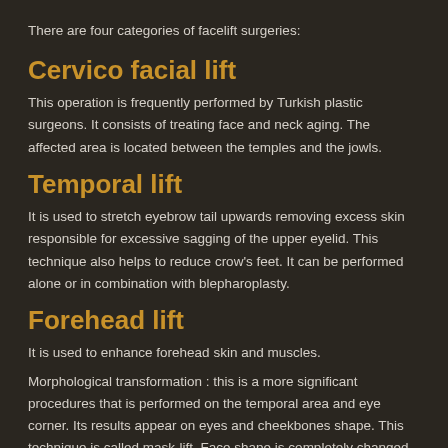There are four categories of facelift surgeries:
Cervico facial lift
This operation is frequently performed by Turkish plastic surgeons. It consists of treating face and neck aging. The affected area is located between the temples and the jowls.
Temporal lift
It is used to stretch eyebrow tail upwards removing excess skin responsible for excessive sagging of the upper eyelid. This technique also helps to reduce crow's feet. It can be performed alone or in combination with blepharoplasty.
Forehead lift
It is used to enhance forehead skin and muscles.
Morphological transformation : this is a more significant procedures that is performed on the temporal area and eye corner. Its results appear on eyes and cheekbones shape. This technique is called mask-lift. Face shape is completely changed as a result of a